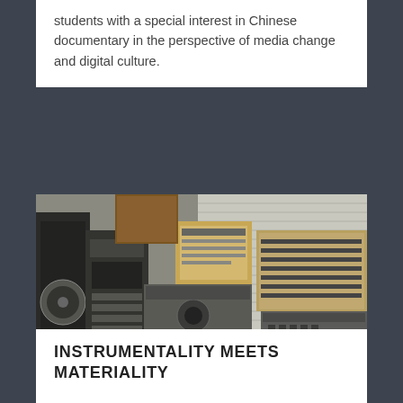students with a special interest in Chinese documentary in the perspective of media change and digital culture.
[Figure (photo): Vintage recording studio or broadcast control room with analog equipment, reel-to-reel tape machines, mixing consoles, patch bays, and wooden furniture from approximately the 1960s-1970s era.]
INSTRUMENTALITY MEETS MATERIALITY